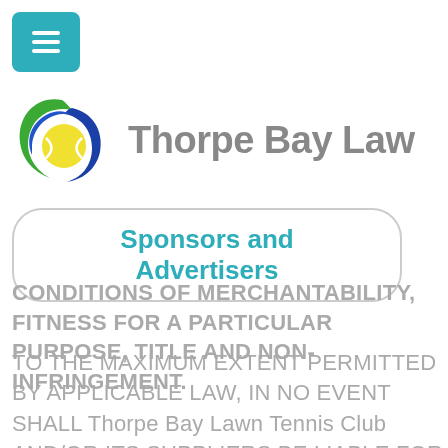[Figure (logo): Hamburger menu button with teal/cyan background]
[Figure (logo): Thorpe Bay Lawn Tennis Club logo — circular swoosh design with green, blue, and yellow tennis ball motif]
Thorpe Bay Law
Sponsors and Advertisers
CONDITIONS OF MERCHANTABILITY, FITNESS FOR A PARTICULAR PURPOSE, TITLE AND NON-INFRINGEMENT.
TO THE MAXIMUM EXTENT PERMITTED BY APPLICABLE LAW, IN NO EVENT SHALL Thorpe Bay Lawn Tennis Club AND/OR ITS SUPPLIERS BE LIABLE FOR ANY DIRECT, INDIRECT, PUNITIVE, INCIDENTAL, SPECIAL, CONSEQUENTIAL